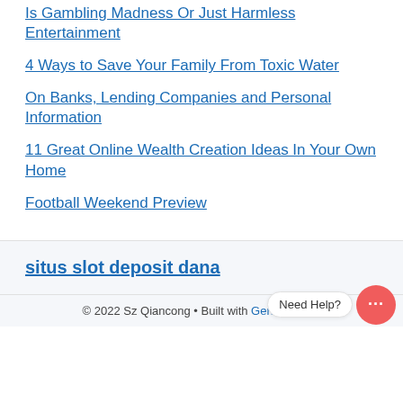Is Gambling Madness Or Just Harmless Entertainment
4 Ways to Save Your Family From Toxic Water
On Banks, Lending Companies and Personal Information
11 Great Online Wealth Creation Ideas In Your Own Home
Football Weekend Preview
situs slot deposit dana
© 2022 Sz Qiancong • Built with GeneratePr...